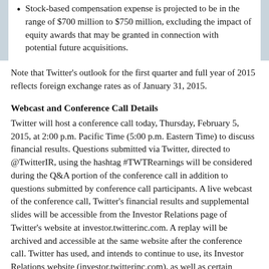Stock-based compensation expense is projected to be in the range of $700 million to $750 million, excluding the impact of equity awards that may be granted in connection with potential future acquisitions.
Note that Twitter's outlook for the first quarter and full year of 2015 reflects foreign exchange rates as of January 31, 2015.
Webcast and Conference Call Details
Twitter will host a conference call today, Thursday, February 5, 2015, at 2:00 p.m. Pacific Time (5:00 p.m. Eastern Time) to discuss financial results. Questions submitted via Twitter, directed to @TwitterIR, using the hashtag #TWTRearnings will be considered during the Q&A portion of the conference call in addition to questions submitted by conference call participants. A live webcast of the conference call, Twitter's financial results and supplemental slides will be accessible from the Investor Relations page of Twitter's website at investor.twitterinc.com. A replay will be archived and accessible at the same website after the conference call. Twitter has used, and intends to continue to use, its Investor Relations website (investor.twitterinc.com), as well as certain Twitter accounts (@dickc, @twitter and @twitterIR), as means of disclosing material non-public information and for complying with its disclosure